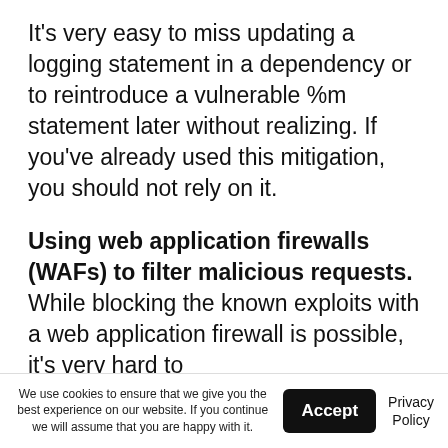It's very easy to miss updating a logging statement in a dependency or to reintroduce a vulnerable %m statement later without realizing. If you've already used this mitigation, you should not rely on it.
Using web application firewalls (WAFs) to filter malicious requests. While blocking the known exploits with a web application firewall is possible, it's very hard to
We use cookies to ensure that we give you the best experience on our website. If you continue we will assume that you are happy with it. | Accept | Privacy Policy